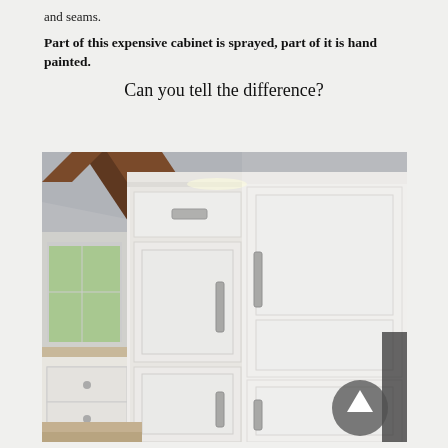and seams.
Part of this expensive cabinet is sprayed, part of it is hand painted.
Can you tell the difference?
[Figure (photo): A large white kitchen cabinet with shaker-style paneled doors and silver bar pulls, set against a vaulted ceiling with exposed wood beams. A window is visible on the left side with kitchen counters below. Part of the cabinet is sprayed and part is hand painted.]